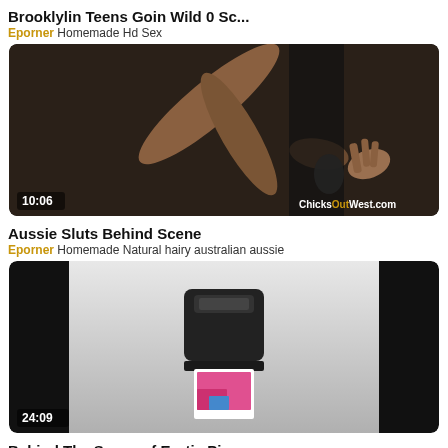Brooklylin Teens Goin Wild 0 Sc...
Eporner Homemade Hd Sex
[Figure (photo): Video thumbnail showing a dimly lit scene, duration 10:06, watermark ChicksOutWest.com]
Aussie Sluts Behind Scene
Eporner Homemade Natural hairy australian aussie
[Figure (photo): Video thumbnail showing a Polaroid-style camera printing a photo, duration 24:09, black side bars]
Behind The Scene of Erotic Pix